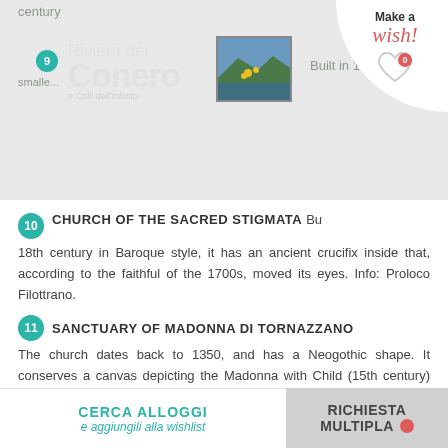century
[Figure (logo): Riviera del Conero e Colli dell'Infinito logo with landscape image]
Built in 1531 to b...
smalle...
[Figure (infographic): Make a wish badge with heart icon showing 0]
10 CHURCH OF THE SACRED STIGMATA Built... 18th century in Baroque style, it has an ancient crucifix inside that, according to the faithful of the 1700s, moved its eyes. Info: Proloco Filottrano.
11 SANCTUARY OF MADONNA DI TORNAZZANO The church dates back to 1350, and has a Neogothic shape. It conserves a canvas depicting the Madonna with Child (15th century) and a stone which the saint sat on
12 VILLA CENTOFINESTRE
CERCA ALLOGGI e aggiungili alla wishlist | RICHIESTA MULTIPLA